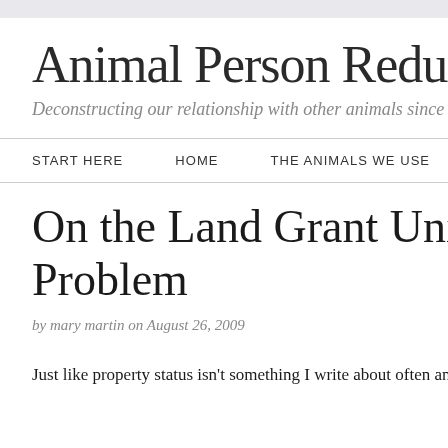Animal Person Redux
Deconstructing our relationship with other animals since 2
START HERE    HOME    THE ANIMALS WE USE
On the Land Grant University Problem
by mary martin on August 26, 2009
Just like property status isn't something I write about often and